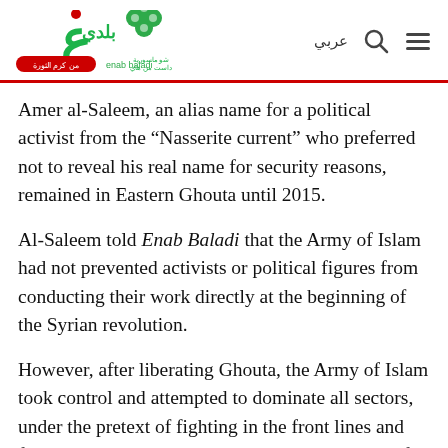Enab Baladi logo with Arabic navigation icons
Amer al-Saleem, an alias name for a political activist from the “Nasserite current” who preferred not to reveal his real name for security reasons, remained in Eastern Ghouta until 2015.
Al-Saleem told Enab Baladi that the Army of Islam had not prevented activists or political figures from conducting their work directly at the beginning of the Syrian revolution.
However, after liberating Ghouta, the Army of Islam took control and attempted to dominate all sectors, under the pretext of fighting in the front lines and freeing the region, “these attempts by the Army of Islam were disturbing to the residents” said al-